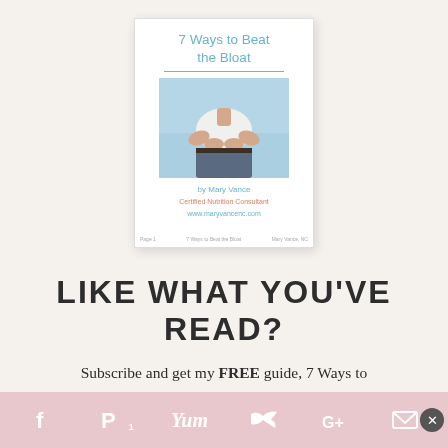[Figure (illustration): Book cover for '7 Ways to Beat the Bloat' by Mary Vance, Certified Nutrition Consultant. Shows a person holding their stomach area against a light blue background. Website www.maryvancenc.com shown at bottom of cover.]
LIKE WHAT YOU'VE READ?
Subscribe and get my FREE guide, 7 Ways to
[Figure (infographic): Social sharing bar at bottom with icons for Facebook, Pinterest (with '1' count), Yummly, Twitter, Google+, and email/envelope. A close button (x) appears on the right.]